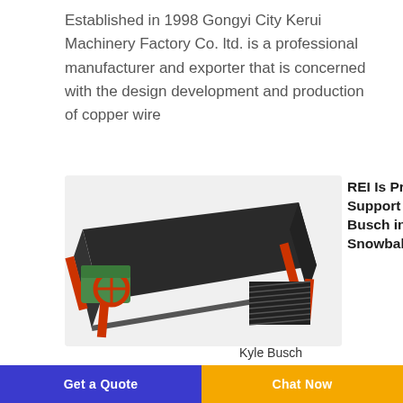Established in 1998 Gongyi City Kerui Machinery Factory Co. ltd. is a professional manufacturer and exporter that is concerned with the design development and production of copper wire
[Figure (photo): Industrial vibrating/shaking table machine with green motor and red frame structure, used for mineral separation. Small inset showing textured material surface.]
REI Is Proud to Support Kyle Busch in The Snowball Derby
Kyle Busch Returns to Snowball Derby for First Time Since 2009 Triumph. MOORESVILLE N.C. (Nov. 28 2012) –
Get a Quote | Chat Now